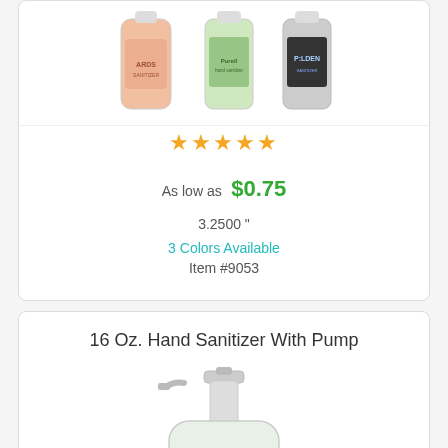[Figure (photo): Three hand sanitizer bottles shown side by side - pink/orange label, green label, and dark/black label]
★★★★★
As low as $0.75
3.2500 "
3 Colors Available
Item #9053
16 Oz. Hand Sanitizer With Pump
[Figure (photo): 16 oz hand sanitizer bottle with pump dispenser, clear bottle with yellow label]